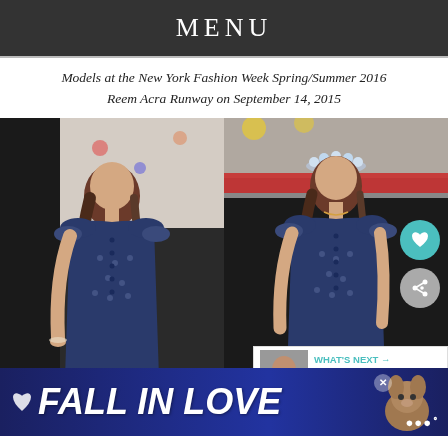MENU
Models at the New York Fashion Week Spring/Summer 2016 Reem Acra Runway on September 14, 2015
[Figure (photo): Two models on the Reem Acra runway at New York Fashion Week Spring/Summer 2016, both wearing navy blue off-shoulder button-front dresses with eyelet fabric, on September 14, 2015. UI overlays include a teal heart button, a grey share button, a 'WHAT'S NEXT - Celebrities Show How T...' panel, and a 'FALL IN LOVE' ad banner at the bottom.]